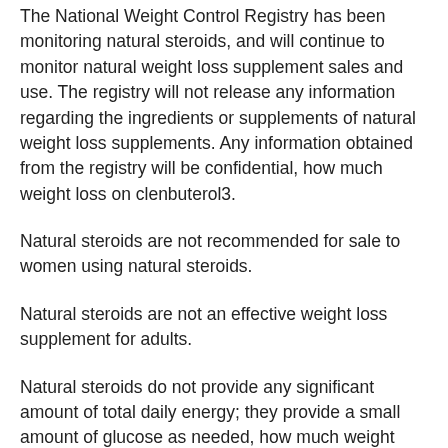The National Weight Control Registry has been monitoring natural steroids, and will continue to monitor natural weight loss supplement sales and use. The registry will not release any information regarding the ingredients or supplements of natural weight loss supplements. Any information obtained from the registry will be confidential, how much weight loss on clenbuterol3.
Natural steroids are not recommended for sale to women using natural steroids.
Natural steroids are not an effective weight loss supplement for adults.
Natural steroids do not provide any significant amount of total daily energy; they provide a small amount of glucose as needed, how much weight loss on clenbuterol4.